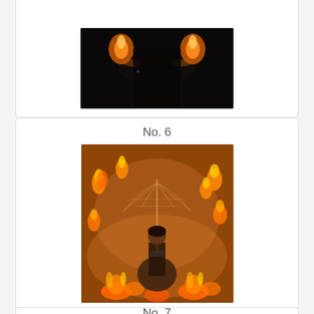[Figure (photo): Partial view of a dark silhouette of a person with fire/flames behind them against a black background, cropped at top of page]
No. 6
[Figure (photo): A woman holding a flaming umbrella surrounded by fire and flames, performing a fire show against an orange/amber background]
No. 7